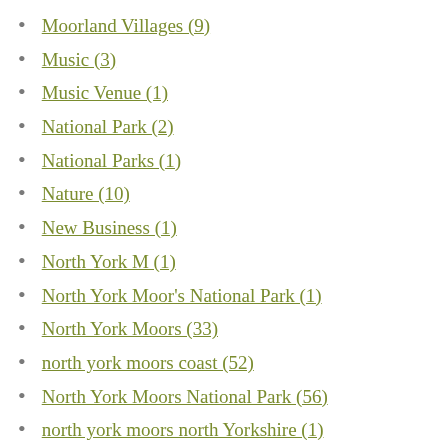Moorland Villages (9)
Music (3)
Music Venue (1)
National Park (2)
National Parks (1)
Nature (10)
New Business (1)
North York M (1)
North York Moor's National Park (1)
North York Moors (33)
north york moors coast (52)
North York Moors National Park (56)
north york moors north Yorkshire (1)
North York Moors Walks (1)
North Yorkshire (3)
North Yorkshire Coast (1)
North Yorkshire Off Road Centre (1)
NYMNP (54)
October (2)
Off Roading (1)